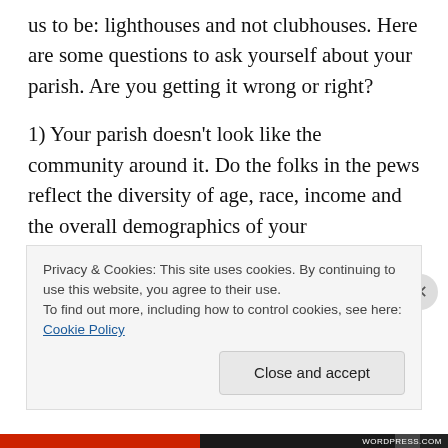us to be: lighthouses and not clubhouses. Here are some questions to ask yourself about your parish. Are you getting it wrong or right?
1) Your parish doesn't look like the community around it. Do the folks in the pews reflect the diversity of age, race, income and the overall demographics of your neighborhood? If not, then there's a disconnect somewhere. Hint: it's NOT the neighborhood's fault.
2) It's a problem if the only thing your community knows about your parish is where the building can be found. And...
Privacy & Cookies: This site uses cookies. By continuing to use this website, you agree to their use.
To find out more, including how to control cookies, see here: Cookie Policy